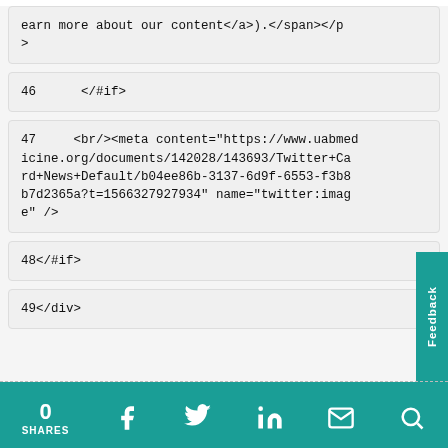earn more about our content</a>).</span></p>
>
46    </#if>
47    <br/><meta content="https://www.uabmedicine.org/documents/142028/143693/Twitter+Card+News+Default/b04ee86b-3137-6d9f-6553-f3b8b7d2365a?t=1566327927934" name="twitter:image" />
48</#if>
49</div>
0 SHARES  [facebook] [twitter] [linkedin] [email] [search]  Feedback